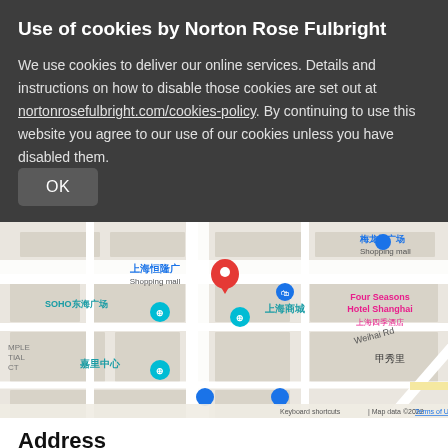Use of cookies by Norton Rose Fulbright
We use cookies to deliver our online services. Details and instructions on how to disable those cookies are set out at nortonrosefulbright.com/cookies-policy. By continuing to use this website you agree to our use of our cookies unless you have disabled them.
OK
[Figure (map): Google Maps showing location near 上海恒隆广场 (Plaza 66), Shanghai. Features include SOHO东海广场, 上海商城, 嘉里中心, Four Seasons Hotel Shanghai, 甲秀里, Weihai Rd, E Ring Ave. A red location pin marks the office. Map data ©2022. Keyboard shortcuts | Map data ©2022 | Terms of Use]
Address
Norton Rose Fulbright LLP
27F, Plaza 66 II